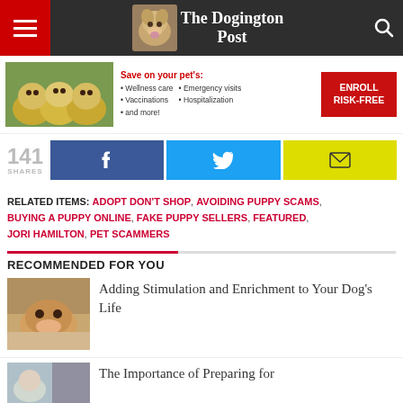The Dogington Post
[Figure (photo): Ad banner with puppies photo and pet insurance enrollment offer. Text: Save on your pet's: Wellness care, Emergency visits, Vaccinations, Hospitalization, and more! ENROLL RISK-FREE]
141 SHARES
RELATED ITEMS: ADOPT DON'T SHOP, AVOIDING PUPPY SCAMS, BUYING A PUPPY ONLINE, FAKE PUPPY SELLERS, FEATURED, JORI HAMILTON, PET SCAMMERS
RECOMMENDED FOR YOU
[Figure (photo): English Bulldog lying down on floor]
Adding Stimulation and Enrichment to Your Dog's Life
[Figure (photo): Partial thumbnail of second recommended article]
The Importance of Preparing for